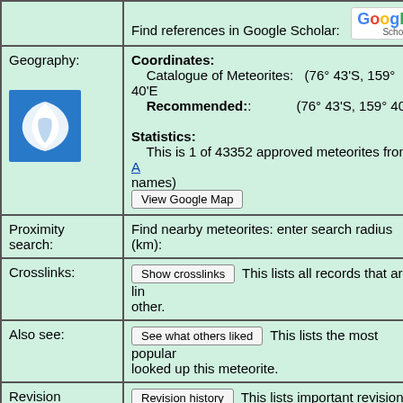| Label | Content |
| --- | --- |
| Find references in Google Scholar: | [Google Scholar logo] |
| Geography: | Coordinates:
  Catalogue of Meteorites: (76° 43'S, 159° 40'E)
  Recommended:: (76° 43'S, 159° 40'E)

Statistics:
  This is 1 of 43352 approved meteorites from A... names)
[View Google Map button] |
| Proximity search: | Find nearby meteorites: enter search radius (km): |
| Crosslinks: | [Show crosslinks button] This lists all records that are linked to each other. |
| Also see: | [See what others liked button] This lists the most popular... looked up this meteorite. |
| Revision history: | [Revision history button] This lists important revisions m... |
Direct link to this page